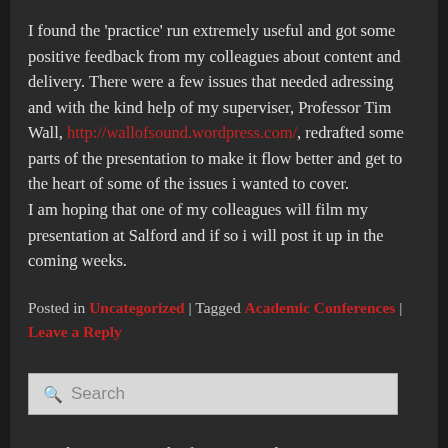I found the 'practice' run extremely useful and got some positive feedback from my colleagues about content and delivery. There were a few issues that needed adressing and with the kind help of my superviser, Professor Tim Wall, http://wallofsound.wordpress.com/, redrafted some parts of the presentation to make it flow better and get to the heart of some of the issues i wanted to cover.
I am hoping that one of my colleagues will film my presentation at Salford and if so i will post it up in the coming weeks.
Posted in Uncategorized | Tagged Academic Conferences | Leave a Reply
[Figure (screenshot): Search input box with magnifying glass icon and placeholder text 'Search']
I am the Degree Leader for Music Industries at Birmingham School of Media at Birmingham City University
and also a member of The Birmingham Centre for Media